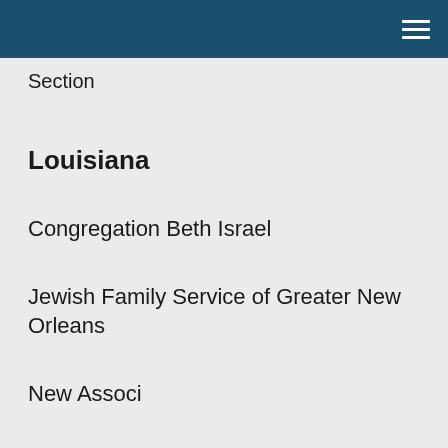Section
Louisiana
Congregation Beth Israel
Jewish Family Service of Greater New Orleans
New Orleans...